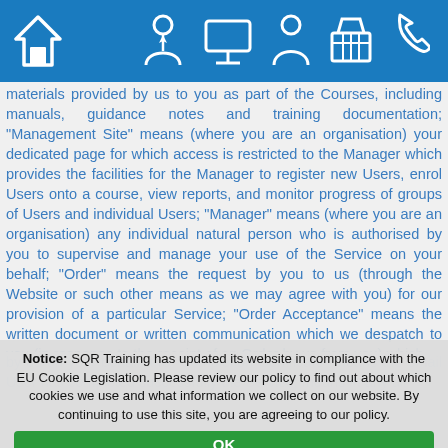[Figure (screenshot): Blue navigation bar with home icon on left and five icons (person/consultant, monitor, person, basket, phone) on right]
materials provided by us to you as part of the Courses, including manuals, guidance notes and training documentation; "Management Site" means (where you are an organisation) your dedicated page for which access is restricted to the Manager which provides the facilities for the Manager to register new Users, enrol Users onto a course, view reports, and monitor progress of groups of Users and individual Users; "Manager" means (where you are an organisation) any individual natural person who is authorised by you to supervise and manage your use of the Service on your behalf; "Order" means the request by you to us (through the Website or such other means as we may agree with you) for our provision of a particular Service; "Order Acceptance" means the written document or written communication which we despatch to you (in response to the receipt of an Order by us from you) which
Notice: SQR Training has updated its website in compliance with the EU Cookie Legislation. Please review our policy to find out about which cookies we use and what information we collect on our website. By continuing to use this site, you are agreeing to our policy.